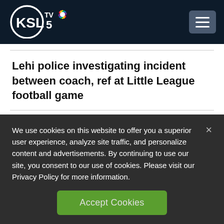[Figure (logo): KSL TV 5 NBC logo on dark navy header bar with hamburger menu button on right]
Lehi police investigating incident between coach, ref at Little League football game
Woman struck by arrow in West Valley Walmart parking lot
We use cookies on this website to offer you a superior user experience, analyze site traffic, and personalize content and advertisements. By continuing to use our site, you consent to our use of cookies. Please visit our Privacy Policy for more information.
Accept Cookies